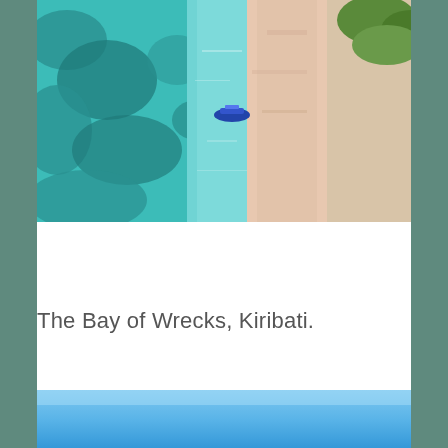[Figure (photo): Aerial view of a tropical beach and lagoon in Kiribati. Turquoise shallow water with coral reef visible on the left, a blue boat in the center of the lagoon, a sandy pink-white beach running vertically in the center-right, and green vegetation in the upper right corner.]
The Bay of Wrecks, Kiribati.
[Figure (photo): Partial view of a bright blue ocean or sky scene, gradient from light sky blue at top to deeper blue below.]